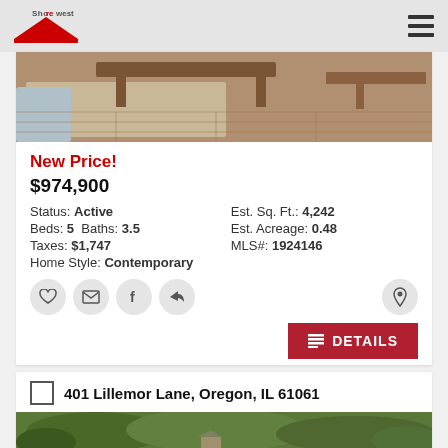Shorewest
[Figure (photo): Interior photo showing wooden furniture, coffee table, and hardwood flooring]
New Price!
$974,900
Status: Active   Est. Sq. Ft.: 4,242
Beds: 5 Baths: 3.5   Est. Acreage: 0.48
Taxes: $1,747   MLS#: 1924146
Home Style: Contemporary
DETAILS
401 Lillemor Lane, Oregon, IL 61061
[Figure (photo): Aerial/landscape photo of property surrounded by trees]